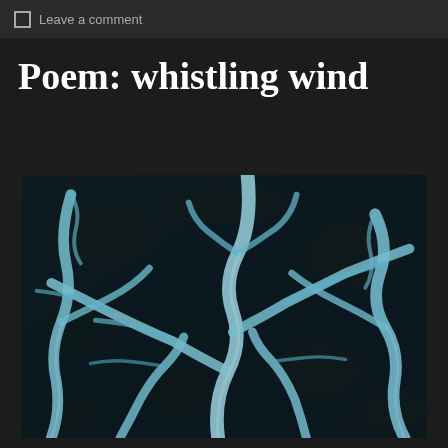Leave a comment
Poem: whistling wind
[Figure (photo): Aerial photograph of a braided glacial river with bright teal/cyan water channels branching across dark volcanic terrain, resembling lightning or tree branches from above.]